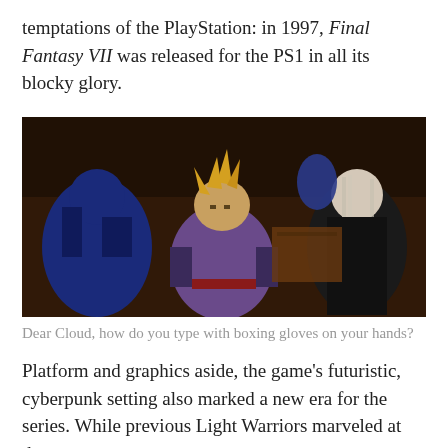temptations of the PlayStation: in 1997, Final Fantasy VII was released for the PS1 in all its blocky glory.
[Figure (photo): Screenshot from Final Fantasy VII showing Cloud Strife (center, with spiky blonde hair and purple outfit), a character in blue on the left, a figure in blue in the background, and Sephiroth (right, with long silver hair and black coat) in a dimly lit wooden room setting.]
Dear Cloud, how do you type with boxing gloves on your hands?
Platform and graphics aside, the game's futuristic, cyberpunk setting also marked a new era for the series. While previous Light Warriors marveled at the steam